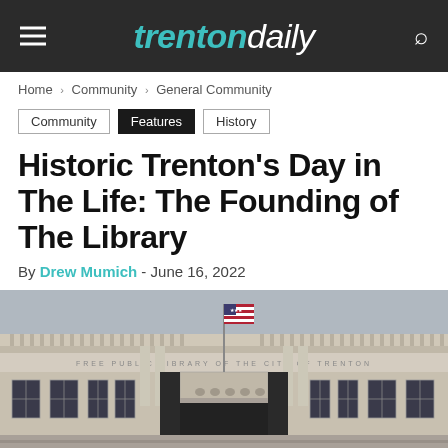trenton daily
Home › Community › General Community
Community | Features | History
Historic Trenton's Day in The Life: The Founding of The Library
By Drew Mumich - June 16, 2022
[Figure (photo): Exterior facade of the Free Public Library of the City of Trenton, a neoclassical stone building with an American flag on a balcony, windows, and ornate architectural details.]